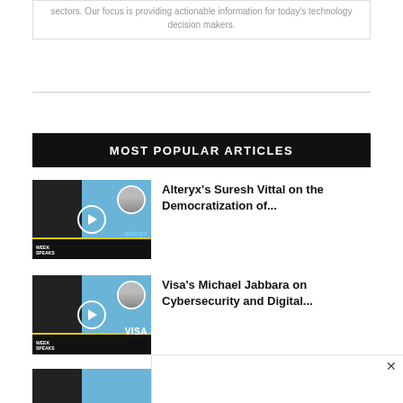sectors. Our focus is providing actionable information for today's technology decision makers.
MOST POPULAR ARTICLES
Alteryx's Suresh Vittal on the Democratization of...
[Figure (photo): Thumbnail image with play button for Alteryx podcast episode]
Visa's Michael Jabbara on Cybersecurity and Digital...
[Figure (photo): Thumbnail image with play button for Visa podcast episode]
...and...